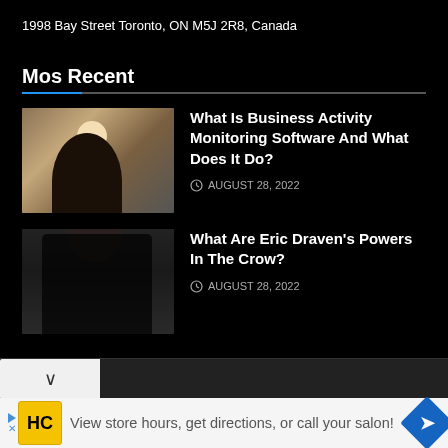1998 Bay Street Toronto, ON M5J 2R8, Canada
Mos Recent
What Is Business Activity Monitoring Software And What Does It Do? — AUGUST 28, 2022
[Figure (photo): Person sitting at desk with laptop, business setting, warm tones]
What Are Eric Draven's Powers In The Crow? — AUGUST 28, 2022
[Figure (photo): Dark figure with long hair, gothic/moody style, dark background]
View store hours, get directions, or call your salon!